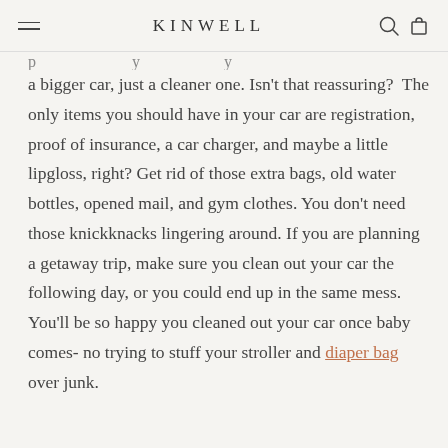KINWELL
a bigger car, just a cleaner one. Isn't that reassuring?  The only items you should have in your car are registration, proof of insurance, a car charger, and maybe a little lipgloss, right? Get rid of those extra bags, old water bottles, opened mail, and gym clothes. You don't need those knickknacks lingering around. If you are planning a getaway trip, make sure you clean out your car the following day, or you could end up in the same mess. You'll be so happy you cleaned out your car once baby comes- no trying to stuff your stroller and diaper bag over junk.